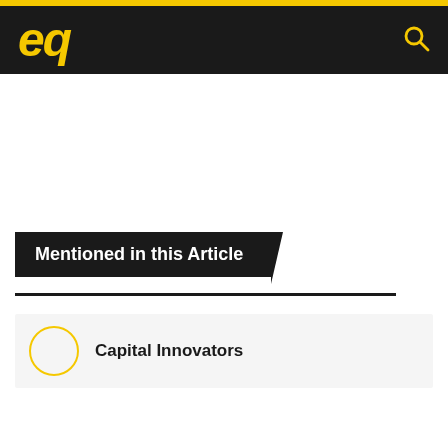eq
Mentioned in this Article
Capital Innovators